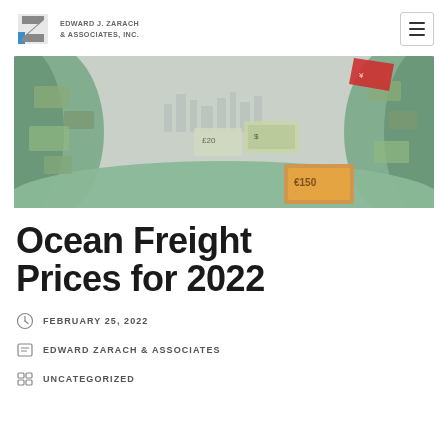EDWARD J. ZARACH & ASSOCIATES, INC.
[Figure (photo): A dramatic fisheye-lens photo of massive piles of international currency banknotes (euros, pounds, dollars, yuan) swirling in a vortex shape with a city skyline visible in the background through fog.]
Ocean Freight Prices for 2022
FEBRUARY 25, 2022
EDWARD ZARACH & ASSOCIATES
UNCATEGORIZED